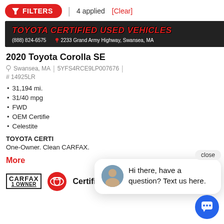FILTERS | 4 applied [Clear]
[Figure (photo): Toyota Certified Used Vehicles dealer banner with red text on dark background, phone (888) 824-6575, address 2233 Grand Army Highway, Swansea, MA]
2020 Toyota Corolla SE
Swansea, MA | 5YFS4RCE9LP007676 | # 14925LR
31,194 mi.
31/40 mpg
FWD
OEM Certifie
Celestite
TOYOTA CERTI
One-Owner. Clean CARFAX.
More
[Figure (logo): CARFAX 1 OWNER logo box]
[Figure (logo): Toyota red circle logo]
Certified